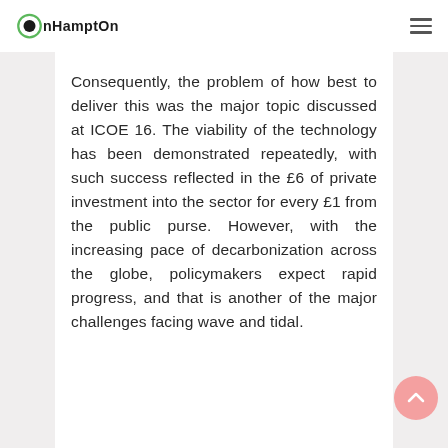onHampton
Consequently, the problem of how best to deliver this was the major topic discussed at ICOE 16. The viability of the technology has been demonstrated repeatedly, with such success reflected in the £6 of private investment into the sector for every £1 from the public purse. However, with the increasing pace of decarbonization across the globe, policymakers expect rapid progress, and that is another of the major challenges facing wave and tidal.